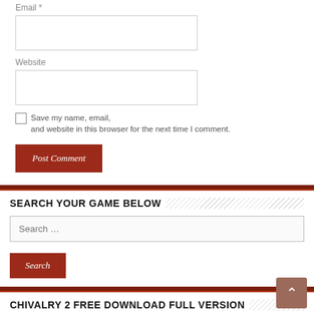Email *
Website
Save my name, email, and website in this browser for the next time I comment.
Post Comment
SEARCH YOUR GAME BELOW
Search …
Search
CHIVALRY 2 FREE DOWNLOAD FULL VERSION
[Figure (screenshot): Screenshot of Chivalry 2 game showing medieval battle scene]